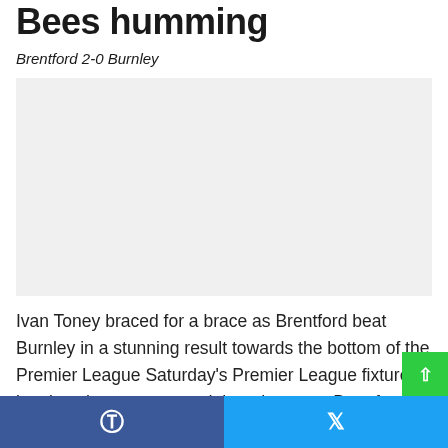Bees humming
Brentford 2-0 Burnley
[Figure (other): Advertisement/image placeholder area]
Ivan Toney braced for a brace as Brentford beat Burnley in a stunning result towards the bottom of the Premier League Saturday's Premier League fixture has just three games and the other sees Brentford beat Burnley in a crucial battle towards the bottom of the table.
Facebook share | Twitter share